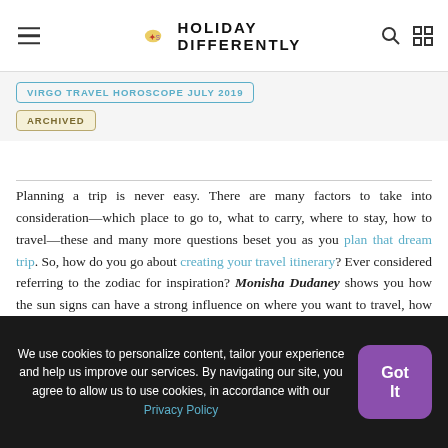HOLIDAY DIFFERENTLY
VIRGO TRAVEL HOROSCOPE JULY 2019
ARCHIVED
Planning a trip is never easy. There are many factors to take into consideration—which place to go to, what to carry, where to stay, how to travel—these and many more questions beset you as you plan that dream trip. So, how do you go about creating your travel itinerary? Ever considered referring to the zodiac for inspiration? Monisha Dudaney shows you how the sun signs can have a strong influence on where you want to travel, how you travel and what your idea of a vacation is.
We use cookies to personalize content, tailor your experience and help us improve our services. By navigating our site, you agree to allow us to use cookies, in accordance with our Privacy Policy